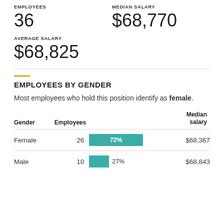EMPLOYEES
36
MEDIAN SALARY
$68,770
AVERAGE SALARY
$68,825
EMPLOYEES BY GENDER
Most employees who hold this position identify as female.
| Gender | Employees |  | Median salary |
| --- | --- | --- | --- |
| Female | 26 | 72% | $68,367 |
| Male | 10 | 27% | $68,843 |